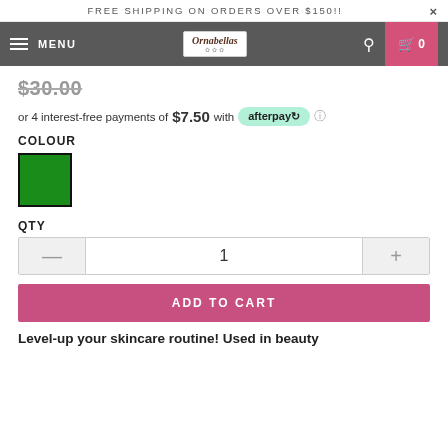FREE SHIPPING ON ORDERS OVER $150!!
[Figure (screenshot): Navigation bar with hamburger menu, MENU text, Ornabellas logo, search icon, and cart icon showing 0]
$30.00
or 4 interest-free payments of $7.50 with afterpay
COLOUR
[Figure (other): Green colour swatch square with black border]
QTY
[Figure (other): Quantity control with minus button, value 1, and plus button]
ADD TO CART
Level-up your skincare routine! Used in beauty